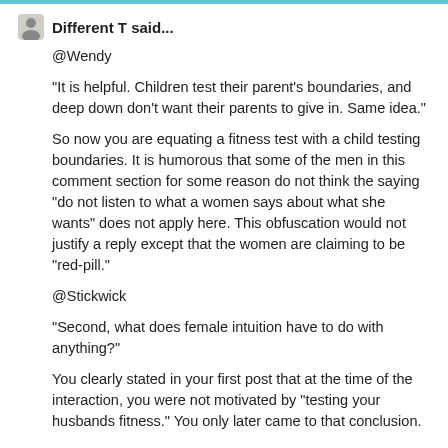Different T said...
@Wendy

"It is helpful. Children test their parent's boundaries, and deep down don't want their parents to give in. Same idea."

So now you are equating a fitness test with a child testing boundaries. It is humorous that some of the men in this comment section for some reason do not think the saying "do not listen to what a women says about what she wants" does not apply here. This obfuscation would not justify a reply except that the women are claiming to be "red-pill."

@Stickwick

"Second, what does female intuition have to do with anything?"

You clearly stated in your first post that at the time of the interaction, you were not motivated by "testing your husbands fitness." You only later came to that conclusion.